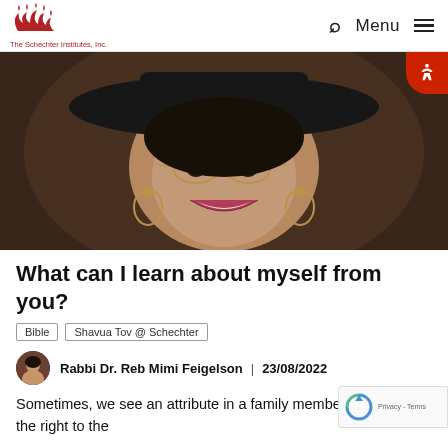The Schechter Institutes, Inc.  Q  Menu
[Figure (photo): Portrait photo of a smiling woman wearing a wide-brimmed black hat, gold-rimmed glasses, and dangling gold earrings, against a dark brown background.]
What can I learn about myself from you?
Bible   Shavua Tov @ Schechter
Rabbi Dr. Reb Mimi Feigelson  |  23/08/2022
Sometimes, we see an attribute in a family member or...